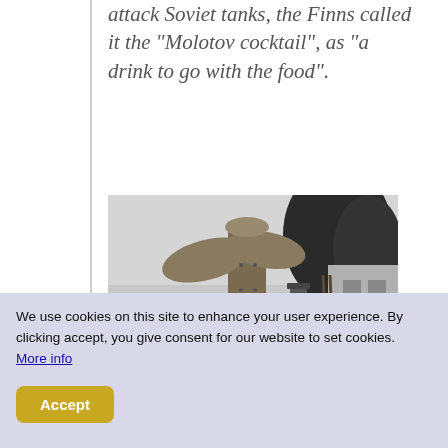attack Soviet tanks, the Finns called it the "Molotov cocktail", as "a drink to go with the food".
[Figure (photo): Black and white historical photograph showing a Finnish soldier holding a Molotov cocktail (incendiary bottle) next to a large wooden anti-tank obstacle in a snowy winter setting. Trees covered in snow and a building are visible in the background.]
We use cookies on this site to enhance your user experience. By clicking accept, you give consent for our website to set cookies. More info